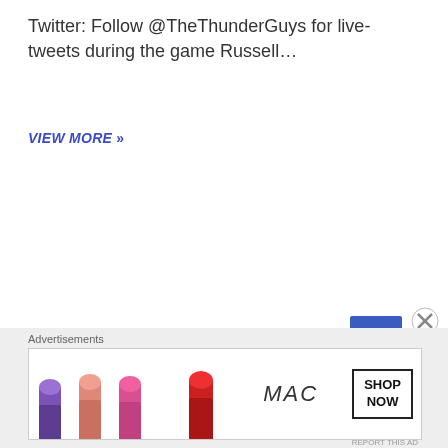Twitter: Follow @TheThunderGuys for live-tweets during the game Russell…
VIEW MORE »»
[Figure (other): MAC Cosmetics advertisement banner with lipstick products and SHOP NOW button]
Advertisements